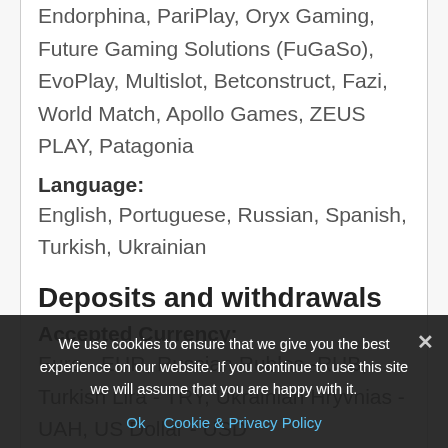Endorphina, PariPlay, Oryx Gaming, Future Gaming Solutions (FuGaSo), EvoPlay, Multislot, Betconstruct, Fazi, World Match, Apollo Games, ZEUS PLAY, Patagonia
Language:
English, Portuguese, Russian, Spanish, Turkish, Ukrainian
Deposits and withdrawals
Accepted Currency:
Euro - EUR, Russian Rubles -RUB, Turkish Lira - TRY, Ukrainian Hryvnias - UAH, US Dollar - USD
Deposit Methods:
EcoPayz, Skrill, MasterCard, NETELLER, MoneyBooking, Qiwi, MasterCard, Skrill, UPayCard, Visa
We use cookies to ensure that we give you the best experience on our website. If you continue to use this site we will assume that you are happy with it.
Ok   Cookie & Privacy Policy